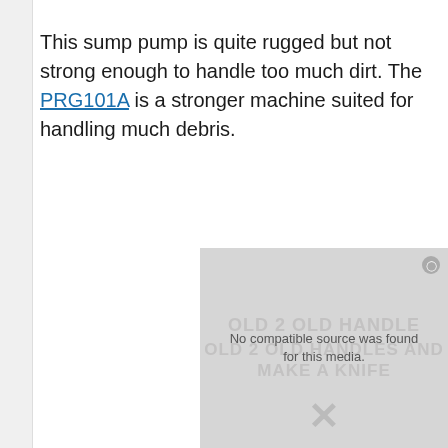This sump pump is quite rugged but not strong enough to handle too much dirt. The PRG101A is a stronger machine suited for handling much debris.
[Figure (other): Video placeholder with message 'No compatible source was found for this media.' overlaid on faded text reading 'OLD 2 OLD HANDLES AND MAKE A KNIFE']